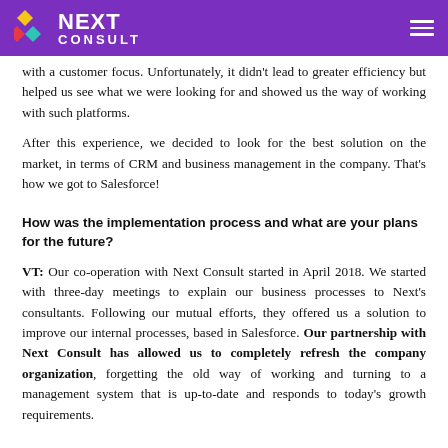Next Consult
with a customer focus. Unfortunately, it didn't lead to greater efficiency but helped us see what we were looking for and showed us the way of working with such platforms.
After this experience, we decided to look for the best solution on the market, in terms of CRM and business management in the company. That's how we got to Salesforce!
How was the implementation process and what are your plans for the future?
VT: Our co-operation with Next Consult started in April 2018. We started with three-day meetings to explain our business processes to Next's consultants. Following our mutual efforts, they offered us a solution to improve our internal processes, based in Salesforce. Our partnership with Next Consult has allowed us to completely refresh the company organization, forgetting the old way of working and turning to a management system that is up-to-date and responds to today's growth requirements.